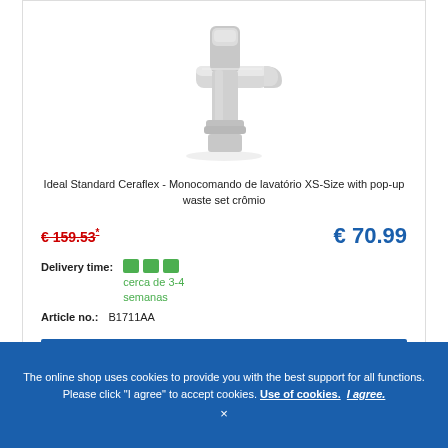[Figure (photo): Chrome bathroom faucet / tap product image - Ideal Standard Ceraflex XS-Size basin mixer]
Ideal Standard Ceraflex - Monocomando de lavatório XS-Size with pop-up waste set crômio
€ 159.53* (strikethrough old price)  € 70.99 (new price)
Delivery time: cerca de 3-4 semanas
Article no.: B1711AA
ADD TO CART
The online shop uses cookies to provide you with the best support for all functions. Please click "I agree" to accept cookies. Use of cookies. I agree.